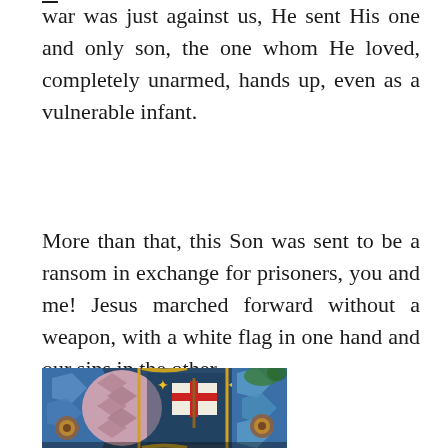war was just against us, He sent His one and only son, the one whom He loved, completely unarmed, hands up, even as a vulnerable infant.
More than that, this Son was sent to be a ransom in exchange for prisoners, you and me!  Jesus marched forward without a weapon, with a white flag in one hand and our sins in the other.
[Figure (photo): Stained glass window depicting a religious scene with colorful geometric patterns, a figure holding a white flag with a red cross, gold stars, and ornate decorative elements in blues, pinks, greens, and yellows.]